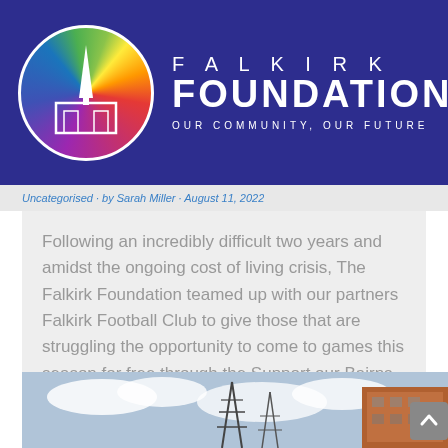[Figure (logo): Falkirk Foundation logo with circular multicolour background and white steeple/stadium icon, with text FALKIRK FOUNDATION OUR COMMUNITY, OUR FUTURE on a dark blue header banner with Menu hamburger icon]
Following an incredibly difficult two years and amidst the ongoing cost of living crisis, The Falkirk Foundation teamed up with our partners Falkirk Football Club to give those that are struggling the opportunity to come to games this season for free through the Support our Bairns initiative. Thanks to the generosity of the Falkirk fanbase,...
[Figure (photo): Photograph showing industrial structures and a stadium stand under a cloudy sky]